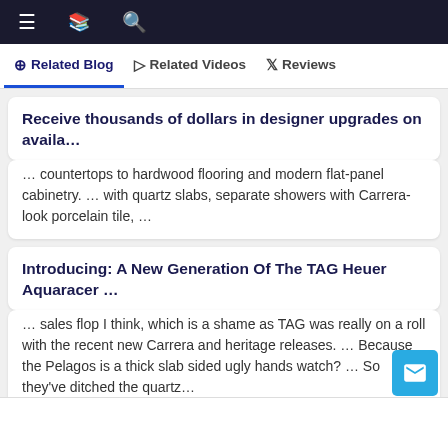☰  📖  🔍
⊕ Related Blog   ▷ Related Videos   𝕏 Reviews
Receive thousands of dollars in designer upgrades on availa...
... countertops to hardwood flooring and modern flat-panel cabinetry. ... with quartz slabs, separate showers with Carrera-look porcelain tile, ...
Introducing: A New Generation Of The TAG Heuer Aquaracer ...
... sales flop I think, which is a shame as TAG was really on a roll with the recent new Carrera and heritage releases. ... Because the Pelagos is a thick slab sided ugly hands watch? ... So they've ditched the quartz...
Stratus Marble & Granite Has Rocks from Across the World
Quartzite is a natural rock (Quartz is the trademark name for ... Okay, so you get shipments of these hunky slabs to Stratus. ... Our Carrera marble is from the same quarry as the marble from Michelangelo's statue of...
Detached homes are now available at Valencia in Morgan Hi...
... quartz-topped vanities with dual undermount sinks, jetted oval tubs with white Venetian marble slab decks, gray-toned Carrera color